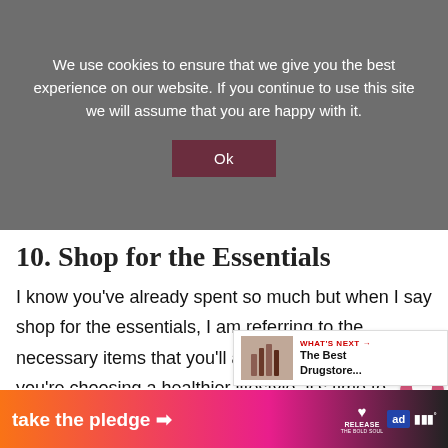We use cookies to ensure that we give you the best experience on our website. If you continue to use this site we will assume that you are happy with it.
Ok
10. Shop for the Essentials
I know you've already spent so much but when I say shop for the essentials, I am referring to the necessary items that you'll actually need. Now that you're choosing a healthier lifestyle, it's time to replace junk food with healthy alternatives. As mentioned up on fruits and vegetables!
WHAT'S NEXT → The Best Drugstore...
take the pledge →